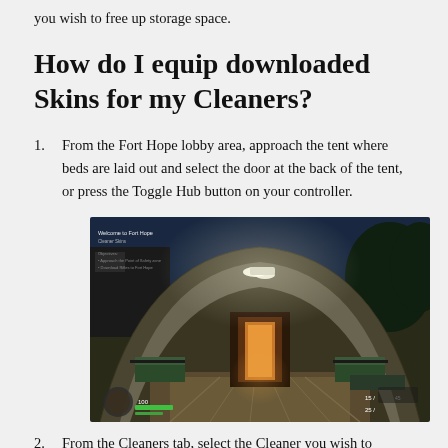you wish to free up storage space.
How do I equip downloaded Skins for my Cleaners?
1. From the Fort Hope lobby area, approach the tent where beds are laid out and select the door at the back of the tent, or press the Toggle Hub button on your controller.
[Figure (screenshot): Game screenshot showing the interior of a military tent in Fort Hope lobby area, with cots/beds visible, lit by overhead lights, door visible at the back. UI overlay visible with game HUD elements.]
2. From the Cleaners tab, select the Cleaner you wish to